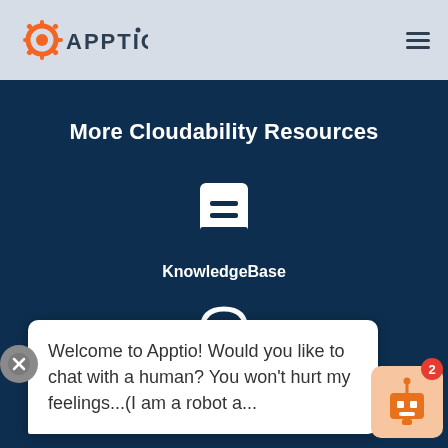APPTIO (logo and navigation)
More Cloudability Resources
[Figure (illustration): Knowledgebase icon: white book/document icon with two lines]
KnowledgeBase
[Figure (illustration): Support icon: white headset/headphones icon]
Training
[Figure (illustration): Chat popup with close button (X) and robot bot icon with badge '2'. Popup text: Welcome to Apptio! Would you like to chat with a human? You won't hurt my feelings...(I am a robot a...]